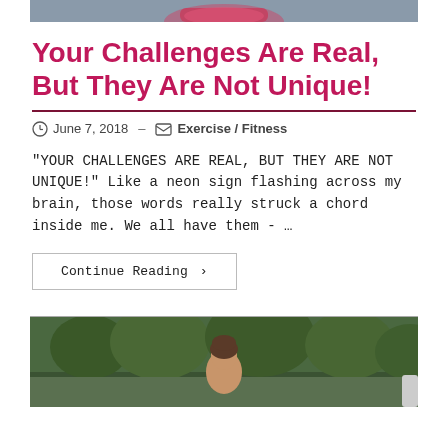[Figure (photo): Top cropped photo showing running shoes, partially visible at top of page]
Your Challenges Are Real, But They Are Not Unique!
June 7, 2018 – Exercise / Fitness
"YOUR CHALLENGES ARE REAL, BUT THEY ARE NOT UNIQUE!" Like a neon sign flashing across my brain, those words really struck a chord inside me. We all have them - …
Continue Reading ›
[Figure (photo): Bottom photo showing a smiling woman outdoors with trees in background]